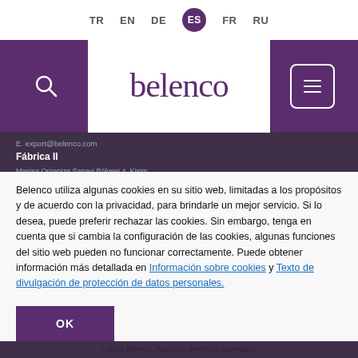TR EN DE ES FR RU
[Figure (logo): Belenco brand logo in purple serif font on white background, centered in header]
E. export@belenco.com
Fábrica II
Manisa Organize Sanayi Bölgesi 4. Kisim
418. Cad No:2
Yunusemre – MANISA / TURKIYE
Oficina Belenco Estambul
Yenimahalle Residence Atatürk Mah. Korun Sokaginda Cins Yolu No:3
T: +90 212 871 20 05
F: +90 212 871 20 06
E. info@belenco.com
E. export@belenco.com
Belenco utiliza algunas cookies en su sitio web, limitadas a los propósitos y de acuerdo con la privacidad, para brindarle un mejor servicio. Si lo desea, puede preferir rechazar las cookies. Sin embargo, tenga en cuenta que si cambia la configuración de las cookies, algunas funciones del sitio web pueden no funcionar correctamente. Puede obtener información más detallada en Información sobre cookies y Texto de divulgación de protección de datos personales.
OK
© 2022 Belenco. Todos los derechos reservados.